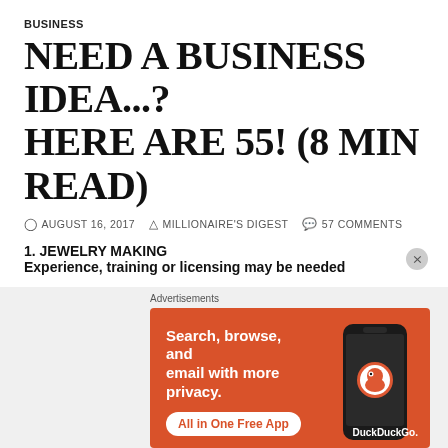BUSINESS
NEED A BUSINESS IDEA...? HERE ARE 55! (8 MIN READ)
AUGUST 16, 2017  MILLIONAIRE'S DIGEST  57 COMMENTS
1. JEWELRY MAKING
Experience, training or licensing may be needed
There are many different ways of getting into the jewelry business and many different types of material
[Figure (screenshot): DuckDuckGo advertisement banner with orange background. Text reads: Search, browse, and email with more privacy. All in One Free App. Shows a phone image and DuckDuckGo logo.]